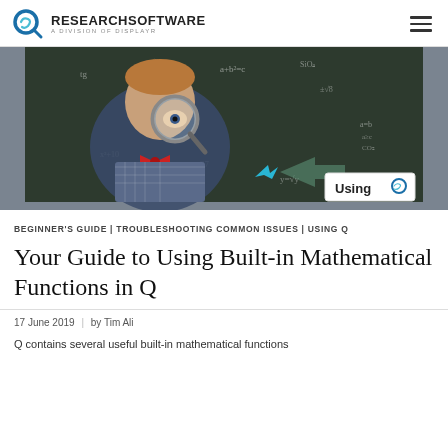RESEARCHSOFTWARE A DIVISION OF DISPLAYR
[Figure (photo): A young boy in a bow tie holding a magnifying glass in front of a chalkboard covered in mathematical equations, with a 'Using Q' badge overlay in the bottom right corner.]
BEGINNER'S GUIDE | TROUBLESHOOTING COMMON ISSUES | USING Q
Your Guide to Using Built-in Mathematical Functions in Q
17 June 2019  |  by Tim Ali
Q contains several useful built-in mathematical functions